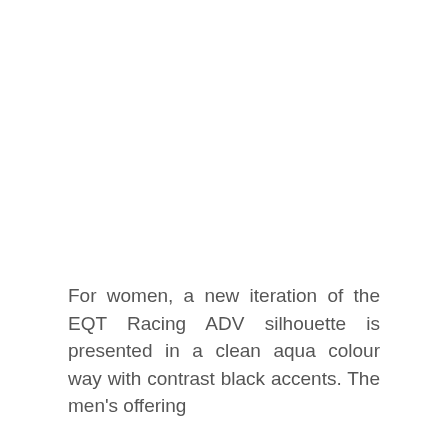For women, a new iteration of the EQT Racing ADV silhouette is presented in a clean aqua colour way with contrast black accents. The men's offering